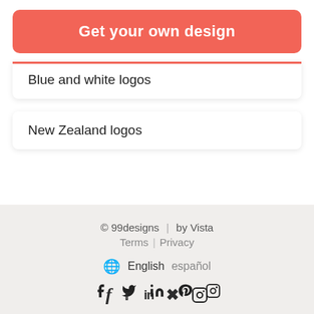Get your own design
Blue and white logos
New Zealand logos
© 99designs | by Vista
Terms | Privacy
English español